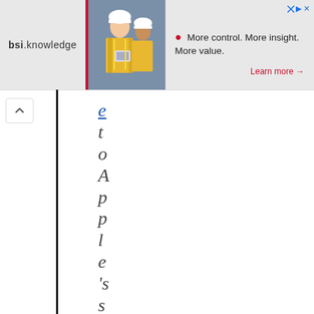[Figure (screenshot): BSI Knowledge website banner advertisement showing two workers in yellow vests and hard hats, with text 'More control. More insight. More value.' and a 'Learn more' link in red.]
e t o Apple's suppo